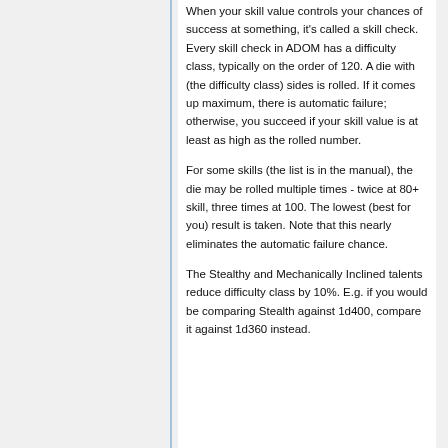When your skill value controls your chances of success at something, it's called a skill check. Every skill check in ADOM has a difficulty class, typically on the order of 120. A die with (the difficulty class) sides is rolled. If it comes up maximum, there is automatic failure; otherwise, you succeed if your skill value is at least as high as the rolled number.
For some skills (the list is in the manual), the die may be rolled multiple times - twice at 80+ skill, three times at 100. The lowest (best for you) result is taken. Note that this nearly eliminates the automatic failure chance.
The Stealthy and Mechanically Inclined talents reduce difficulty class by 10%. E.g. if you would be comparing Stealth against 1d400, compare it against 1d360 instead.